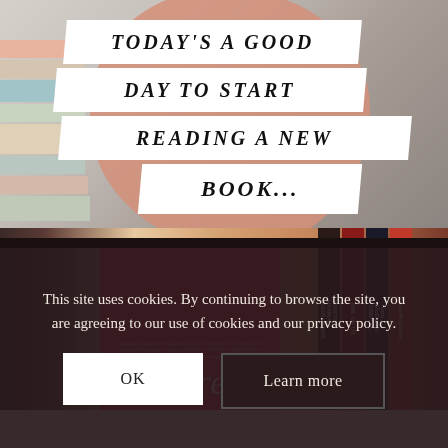[Figure (photo): Top half: photo of a bookshelf with a pink/mauve circular blob overlay and italic bold white-background text strips reading 'TODAY'S A GOOD DAY TO START READING A NEW BOOK...' with a play button triangle icon]
[Figure (photo): Middle section: bookshelf photo with a prominent pink/red book cover displaying italic white text 'Here' and a small quote, surrounded by colorful book spines]
This site uses cookies. By continuing to browse the site, you are agreeing to our use of cookies and our privacy policy.